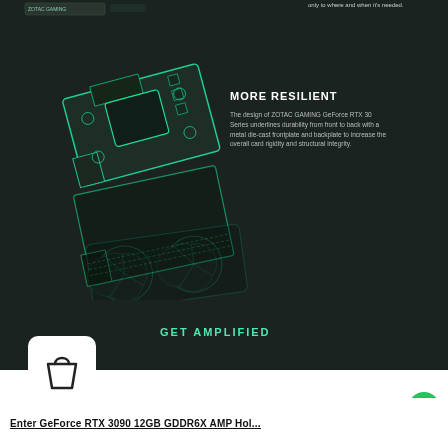only to where and when it's needed.
[Figure (illustration): Exploded view illustration of ZOTAC GAMING GeForce RTX 30 Series GPU showing metal die-cast frontplate and backplate components outlined in teal/cyan on dark background]
MORE RESILIENT
The design of ZOTAC GAMING GeForce RTX 30 Series underlines durability from front to back with a metal die-cast frontplate and backplate to increase the overall card rigidity and structural integrity.
GET AMPLIFIED
[Figure (illustration): White rounded square icon containing a shopping bag symbol]
[Figure (illustration): Green circular chat/support button in bottom right corner]
Enter GeForce RTX 3090 12GB GDDR6X AMP Hol...